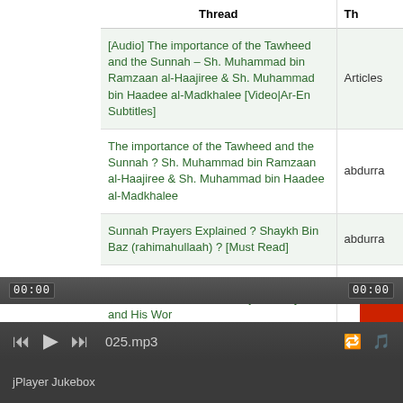| Thread | Th |
| --- | --- |
| [Audio] The importance of the Tawheed and the Sunnah – Sh. Muhammad bin Ramzaan al-Haajiree & Sh. Muhammad bin Haadee al-Madkhalee [Video|Ar-En Subtitles] | Articles |
| The importance of the Tawheed and the Sunnah ? Sh. Muhammad bin Ramzaan al-Haajiree & Sh. Muhammad bin Haadee al-Madkhalee | abdurra |
| Sunnah Prayers Explained ? Shaykh Bin Baz (rahimahullaah) ? [Must Read] | abdurra |
| Shaykh Abd Allaah Bin Muhammad Bin Abd Al-Wahhaab on Ibn Hajar Al-Haytami and His Wor | Articles |
| Shaykh Muhammad bin Abdul Wahhab al-Banna died earlier today rahimahullah | Articles |
[Figure (screenshot): Red button widget on right side of page]
00:00   00:00
|< ▶ >| 025.mp3
jPlayer Jukebox